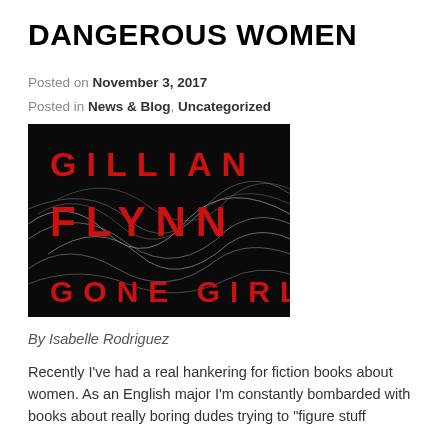DANGEROUS WOMEN
Posted on November 3, 2017
Posted in News & Blog, Uncategorized
[Figure (photo): Book cover of 'Gone Girl' by Gillian Flynn. Black background with red capital text reading 'GILLIAN FLYNN' on top and 'GONE GIRL' on bottom, with wispy hair strands in the middle.]
By Isabelle Rodriguez
Recently I've had a real hankering for fiction books about women. As an English major I'm constantly bombarded with books about really boring dudes trying to "figure stuff